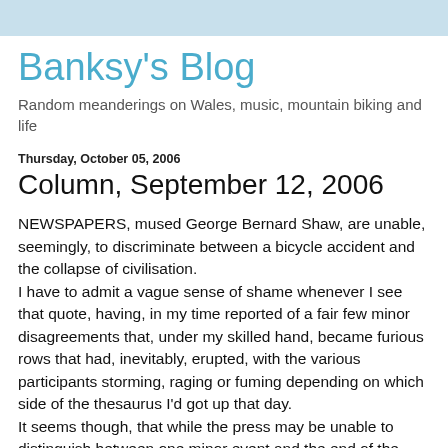Banksy's Blog
Random meanderings on Wales, music, mountain biking and life
Thursday, October 05, 2006
Column, September 12, 2006
NEWSPAPERS, mused George Bernard Shaw, are unable, seemingly, to discriminate between a bicycle accident and the collapse of civilisation.
I have to admit a vague sense of shame whenever I see that quote, having, in my time reported of a fair few minor disagreements that, under my skilled hand, became furious rows that had, inevitably, erupted, with the various participants storming, raging or fuming depending on which side of the thesaurus I'd got up that day.
It seems though, that while the press may be unable to distinguish between one minor event and the end of the